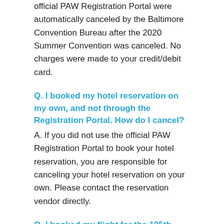official PAW Registration Portal were automatically canceled by the Baltimore Convention Bureau after the 2020 Summer Convention was canceled. No charges were made to your credit/debit card.
Q. I booked my hotel reservation on my own, and not through the Registration Portal. How do I cancel?
A. If you did not use the official PAW Registration Portal to book your hotel reservation, you are responsible for canceling your hotel reservation on your own. Please contact the reservation vendor directly.
Q. I booked my flight for the 105th Summer Convention. How do I cancel?
A. You are responsible for canceling your airline reservation. Please contact your airline carrier or